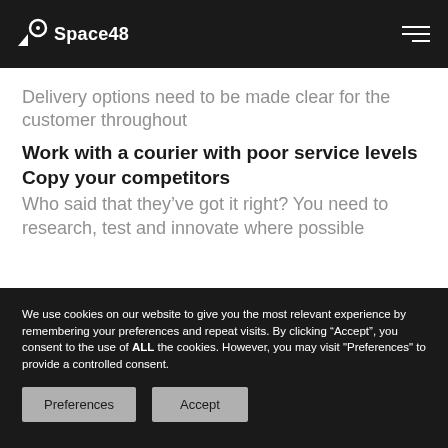Space48
Delivery options need to be made clear for the customer throughout
Work with a courier with poor service levels
Copy your competitors
Who said that they’ve got it right? You need to research, test and innovate where possible
We use cookies on our website to give you the most relevant experience by remembering your preferences and repeat visits. By clicking “Accept”, you consent to the use of ALL the cookies. However, you may visit "Preferences" to provide a controlled consent.
Preferences
Accept